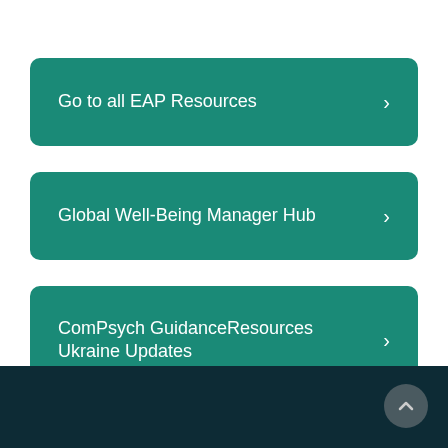Go to all EAP Resources
Global Well-Being Manager Hub
ComPsych GuidanceResources Ukraine Updates